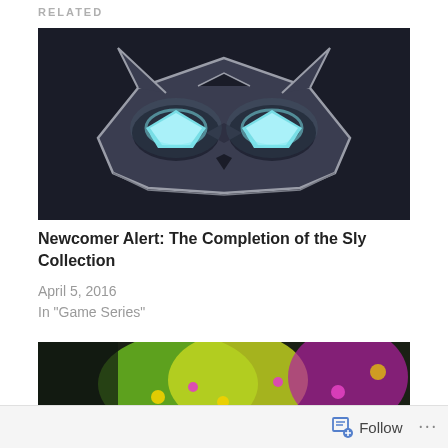RELATED
[Figure (illustration): Sly Cooper raccoon mask logo with glowing blue eyes on dark background]
Newcomer Alert: The Completion of the Sly Collection
April 5, 2016
In "Game Series"
[Figure (photo): Colorful game character screenshot with green and yellow colors]
Follow